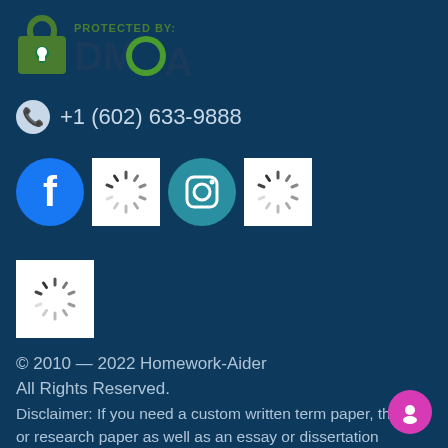[Figure (logo): DMCA Protected By badge with green padlock icon and DMCA text]
+1 (602) 633-9888
[Figure (illustration): Row of social media icons: Facebook (blue circle with f), loading spinner, Instagram (teal circle with camera), loading spinner]
[Figure (logo): Loading spinner icon in white box]
© 2010 — 2022 Homework-Aider
All Rights Reserved.
Disclaimer: If you need a custom written term paper, thesis or research paper as well as an essay or dissertation sample, choosing Homework-Aider - a relatively cheap custom writing service - is a great option. Get any writing assistance at a price that every average student can afford.